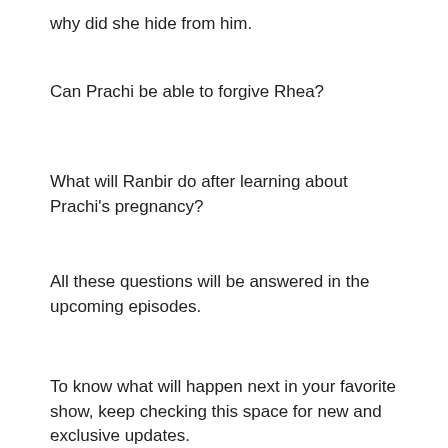why did she hide from him.
Can Prachi be able to forgive Rhea?
What will Ranbir do after learning about Prachi's pregnancy?
All these questions will be answered in the upcoming episodes.
To know what will happen next in your favorite show, keep checking this space for new and exclusive updates.